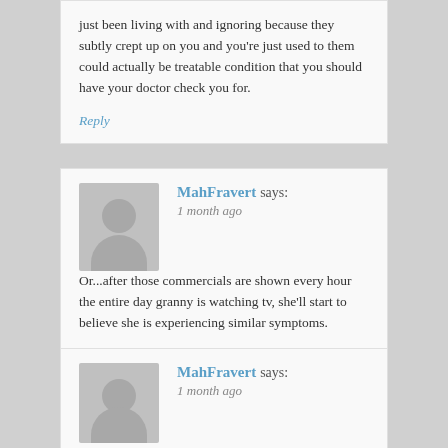just been living with and ignoring because they subtly crept up on you and you're just used to them could actually be treatable condition that you should have your doctor check you for.
Reply
MahFravert says:
1 month ago
Or...after those commercials are shown every hour the entire day granny is watching tv, she'll start to believe she is experiencing similar symptoms.
Reply
MahFravert says:
1 month ago
You should try exploring something of a